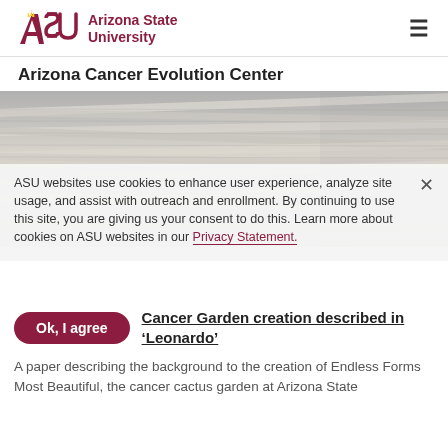ASU Arizona State University
Arizona Cancer Evolution Center
[Figure (photo): Stacked layers of papers forming a textured abstract background image]
ASU websites use cookies to enhance user experience, analyze site usage, and assist with outreach and enrollment. By continuing to use this site, you are giving us your consent to do this. Learn more about cookies on ASU websites in our Privacy Statement.
Ok, I agree
Cancer Garden creation described in 'Leonardo'
A paper describing the background to the creation of Endless Forms Most Beautiful, the cancer cactus garden at Arizona State